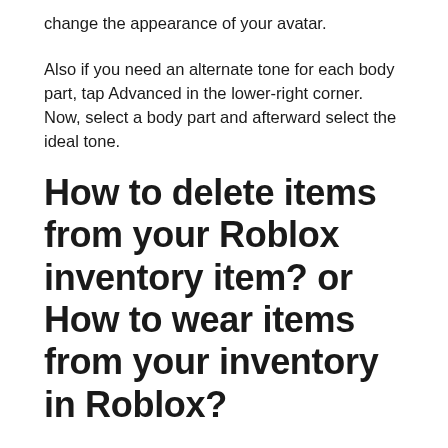change the appearance of your avatar.
Also if you need an alternate tone for each body part, tap Advanced in the lower-right corner. Now, select a body part and afterward select the ideal tone.
How to delete items from your Roblox inventory item? or How to wear items from your inventory in Roblox?
Phone
Step-1 Click on the item in your inventory you want to wear or remove.